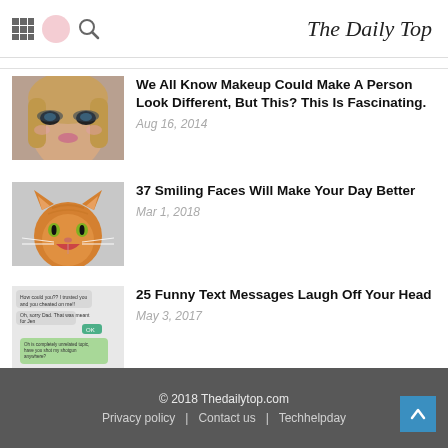The Daily Top
[Figure (photo): Woman with dramatic eye makeup]
We All Know Makeup Could Make A Person Look Different, But This? This Is Fascinating.
Aug 16, 2014
[Figure (photo): Smiling orange cat with open mouth]
37 Smiling Faces Will Make Your Day Better
Mar 1, 2018
[Figure (screenshot): Screenshot of funny text messages conversation]
25 Funny Text Messages Laugh Off Your Head
May 3, 2017
© 2018 Thedailytop.com | Privacy policy | Contact us | Techhelpday